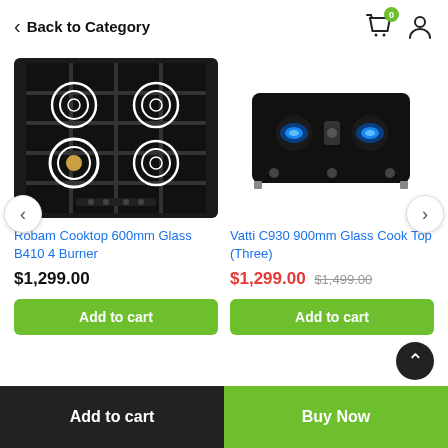Back to Category
[Figure (screenshot): Robam Cooktop 600mm Glass B410 4 Burner - black glass cooktop with 4 burners]
Robam Cooktop 600mm Glass B410 4 Burner
$1,299.00
Add to cart
[Figure (screenshot): Vatti C930 900mm Glass Cook Top with blue flames on three burners]
Vatti C930 900mm Glass Cook Top (Three)
$1,299.00 $1,499.00
Add to cart
Add to cart
Buy Now